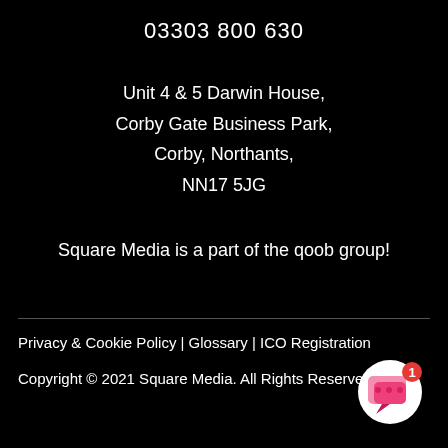03303 800 630
Unit 4 & 5 Darwin House,
Corby Gate Business Park,
Corby, Northants,
NN17 5JG
Square Media is a part of the qoob group!
Privacy & Cookie Policy | Glossary | ICO Registration
Copyright © 2021 Square Media. All Rights Reserved..
[Figure (illustration): Chat widget icon with pink speech bubble and notification badge showing 1]